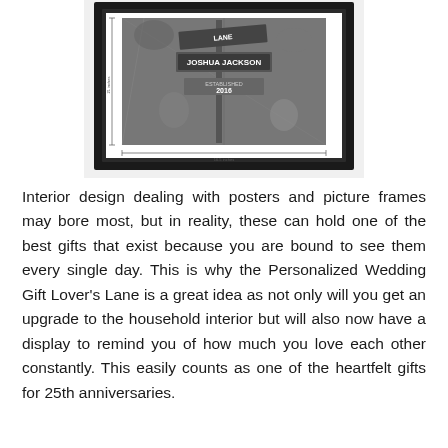[Figure (photo): A framed black-and-white photograph showing street signs on a post with the name 'JOSHUA JACKSON' and 'ESTABLISHED 2016', set against a tree background, displayed in a black picture frame. Dimension annotations show 21 inches height and 16.5 inches width.]
Interior design dealing with posters and picture frames may bore most, but in reality, these can hold one of the best gifts that exist because you are bound to see them every single day. This is why the Personalized Wedding Gift Lover's Lane is a great idea as not only will you get an upgrade to the household interior but will also now have a display to remind you of how much you love each other constantly. This easily counts as one of the heartfelt gifts for 25th anniversaries.